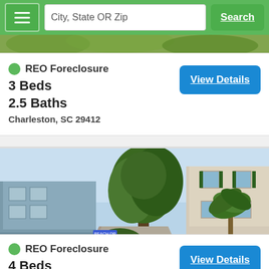City, State OR Zip | Search
[Figure (photo): Partial view of a property exterior with green trees and vegetation, top strip visible]
REO Foreclosure
3 Beds
2.5 Baths
Charleston, SC 29412
[Figure (photo): Street view of a residential neighborhood in Charleston SC showing multi-story coastal style homes with palm trees, lush greenery, and a gravel/paver driveway]
REO Foreclosure
4 Beds
2.5 Baths (partial)